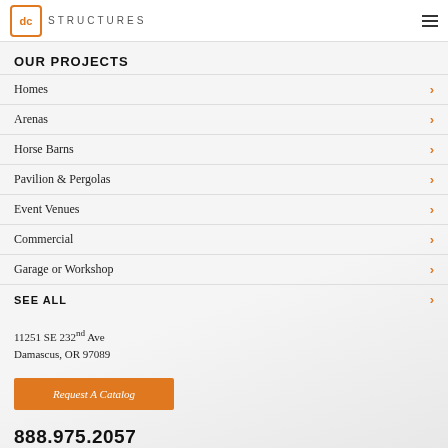DC Structures
OUR PROJECTS
Homes
Arenas
Horse Barns
Pavilion & Pergolas
Event Venues
Commercial
Garage or Workshop
SEE ALL
11251 SE 232nd Ave
Damascus, OR 97089
Request A Catalog
888.975.2057